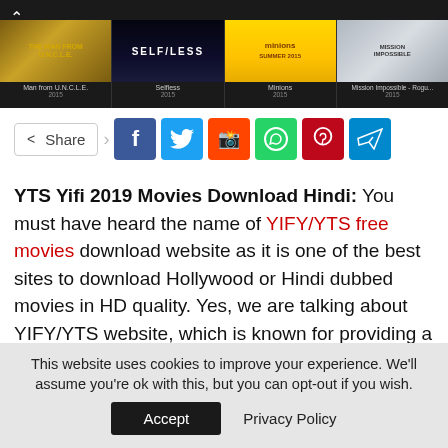[Figure (screenshot): Movie thumbnails strip showing Man from U.N.C.L.E., Selfless, Minions, and Mission Impossible - Rogue Nation on a dark background]
[Figure (infographic): Social share bar with Share button and social media icons: Facebook, Twitter, Reddit, WhatsApp, Pinterest, Telegram]
YTS Yifi 2019 Movies Download Hindi: You must have heard the name of YIFY/YTS free movies download website as it is one of the best sites to download Hollywood or Hindi dubbed movies in HD quality. Yes, we are talking about YIFY/YTS website, which is known for providing a huge collection of HD movies as free downloads through BitTorrent.
This website uses cookies to improve your experience. We'll assume you're ok with this, but you can opt-out if you wish. Accept  Privacy Policy